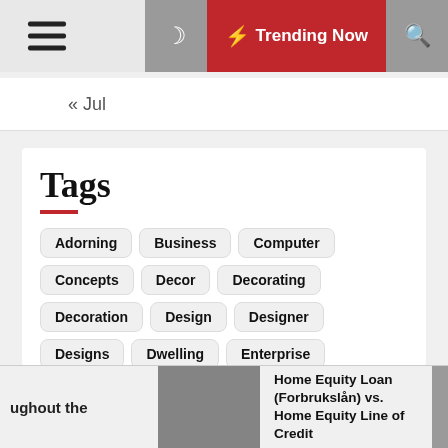≡  ☽  ⚡ Trending Now  🔍
« Jul
Tags
Adorning
Business
Computer
Concepts
Decor
Decorating
Decoration
Design
Designer
Designs
Dwelling
Enterprise
Exterior
Family
Fashion
Fashionable
Finance
Fitness
Footage
Greatest
Health
Home
House
Ideas
Improvement
Inside
Inspiration
Interior
ughout the
Home Equity Loan (Forbrukslån) vs. Home Equity Line of Credit